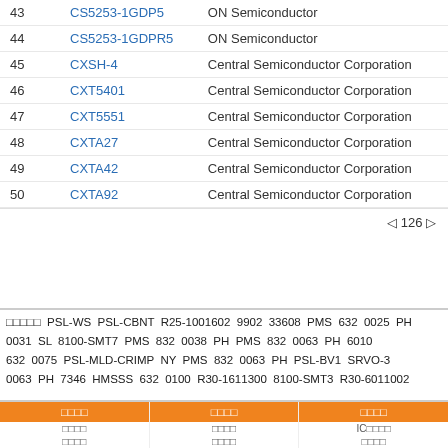| # | Part | Manufacturer |
| --- | --- | --- |
| 43 | CS5253-1GDP5 | ON Semiconductor |
| 44 | CS5253-1GDPR5 | ON Semiconductor |
| 45 | CXSH-4 | Central Semiconductor Corporation |
| 46 | CXT5401 | Central Semiconductor Corporation |
| 47 | CXT5551 | Central Semiconductor Corporation |
| 48 | CXTA27 | Central Semiconductor Corporation |
| 49 | CXTA42 | Central Semiconductor Corporation |
| 50 | CXTA92 | Central Semiconductor Corporation |
◁ 126 ▷
□□□□□ PSL-WS PSL-CBNT R25-1001602 9902 33608 PMS 632 0025 PH 0031 SL 8100-SMT7 PMS 832 0038 PH PMS 832 0063 PH 6010 632 0075 PSL-MLD-CRIMP NY PMS 832 0063 PH PSL-BV1 SRVO-3 0063 PH 7346 HMSSS 632 0100 R30-1611300 8100-SMT3 R30-6011002
□□□□
□□□□
□□□□
□□□□
□□□□
□□□□
IC□□□□
□□□□
□□□□
□□□□
□□□□
□□□□